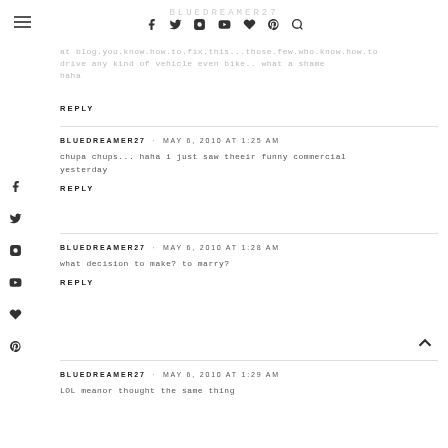BLUEDREAMER27 [blog title partially visible]
drive any kind of vehicle even bike.. what a shame haha
REPLY
BLUEDREAMER27  MAY 6, 2010 AT 1:25 AM
chupa chups... haha i just saw theeir funny commercial yesterday
REPLY
BLUEDREAMER27  MAY 6, 2010 AT 1:28 AM
what decision to make?  to marry?
REPLY
BLUEDREAMER27  MAY 6, 2010 AT 1:29 AM
LOL meanor thought the same thing